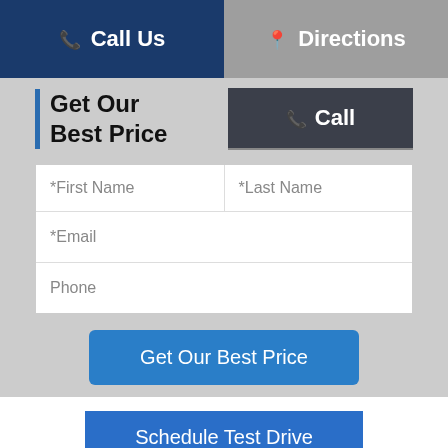Call Us   Directions
Get Our Best Price
Call
*First Name
*Last Name
*Email
Phone
Get Our Best Price
Schedule Test Drive
Your web browser (iOS 11) is out of date. Update your browser for more security, speed and the best experience on this site.
TEXT ME THIS OFFER
Update browser
Ignore